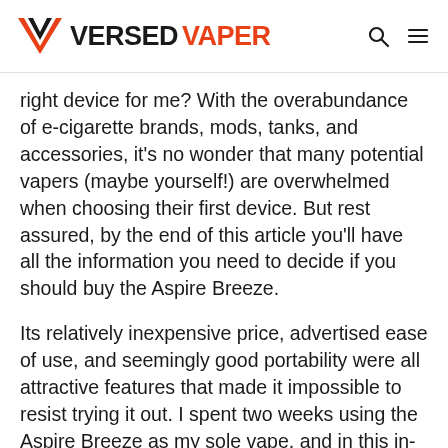VERSED VAPER
right device for me? With the overabundance of e-cigarette brands, mods, tanks, and accessories, it's no wonder that many potential vapers (maybe yourself!) are overwhelmed when choosing their first device. But rest assured, by the end of this article you'll have all the information you need to decide if you should buy the Aspire Breeze.
Its relatively inexpensive price, advertised ease of use, and seemingly good portability were all attractive features that made it impossible to resist trying it out. I spent two weeks using the Aspire Breeze as my sole vape, and in this in-depth Aspire Breeze review i'm going to be sharing my honest experience with this compact vape. I'll tell you